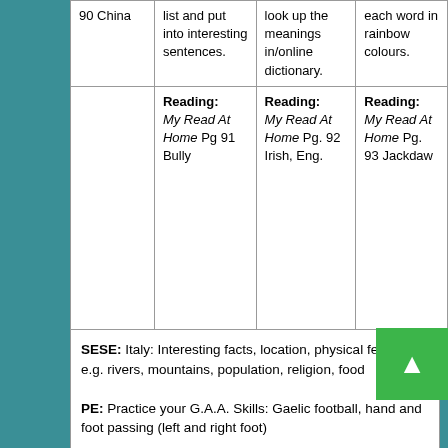|  |  |  |  |
| --- | --- | --- | --- |
| 90 China | list and put into interesting sentences. | look up the meanings in/online dictionary. | each word in rainbow colours. |
|  | Reading:
My Read At Home Pg 91 Bully | Reading:
My Read At Home Pg. 92 Irish, Eng. | Reading:
My Read At Home Pg. 93 Jackdaw |
SESE: Italy: Interesting facts, location, physical features e.g. rivers, mountains, population, religion, food
PE: Practice your G.A.A. Skills: Gaelic football, hand and foot passing (left and right foot)